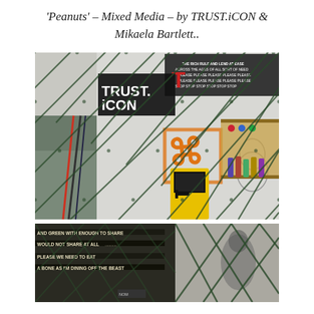'Peanuts' – Mixed Media – by TRUST.iCON & Mikaela Bartlett..
[Figure (photo): A graffiti/mixed-media art studio interior photographed through a chain-link fence. Visible elements include a TRUST.iCON logo sign, orange graffiti lettering on white brick wall, a Pac-Man style yellow arcade cabinet, various spray cans, art supplies, brooms, stenciled/chalked Snoopy-like character outline, and collage panels with text on the wall. The chain-link fence forms a diamond-pattern overlay across the entire image.]
[Figure (photo): A close-up photograph through a chain-link fence showing painted text strips with slogans (including phrases like 'AND GREEN WITH ENOUGH', 'WOULD NOT SHARE AT ALL', 'PLEASE WE NEED TO EAT', 'A BONE AS I'M DINING OFF THE BEAST') and a partial view of a spray-painted figure or character silhouette on the right.]